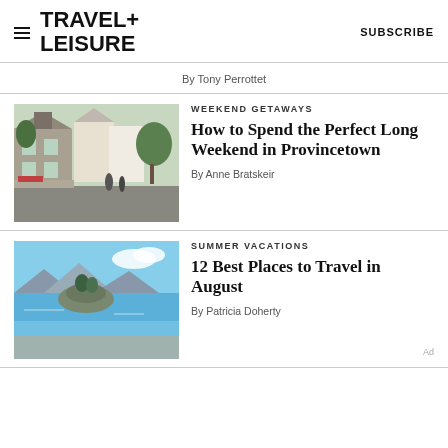TRAVEL+LEISURE | SUBSCRIBE
By Tony Perrottet
[Figure (photo): Street scene in Provincetown with historic buildings and pedestrians]
WEEKEND GETAWAYS
How to Spend the Perfect Long Weekend in Provincetown
By Anne Bratskeir
[Figure (photo): Coastal scene with island and clear blue water, summer vacation destination]
SUMMER VACATIONS
12 Best Places to Travel in August
By Patricia Doherty